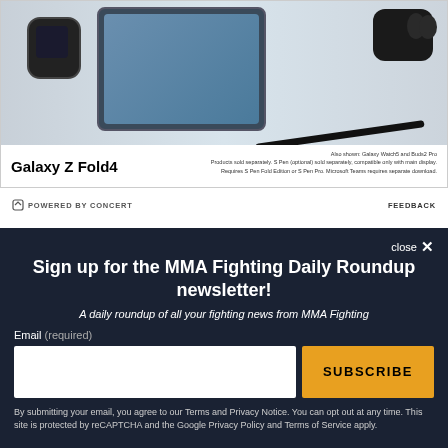[Figure (photo): Samsung Galaxy Z Fold4 advertisement showing the device alongside Galaxy Watch5 and Buds2 Pro. Text reads 'Galaxy Z Fold4'. Fine print: 'Also shown: Galaxy Watch5 and Buds2 Pro. Products sold separately. S Pen (optional) sold separately, compatible only with main display. Requires S Pen Fold Edition or S Pen Pro. Microsoft Teams requires separate download.']
POWERED BY CONCERT
FEEDBACK
close ×
Sign up for the MMA Fighting Daily Roundup newsletter!
A daily roundup of all your fighting news from MMA Fighting
Email (required)
SUBSCRIBE
By submitting your email, you agree to our Terms and Privacy Notice. You can opt out at any time. This site is protected by reCAPTCHA and the Google Privacy Policy and Terms of Service apply.